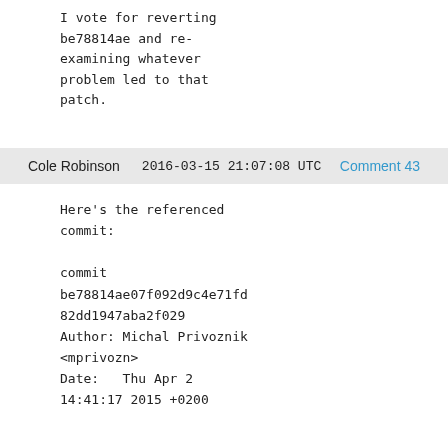I vote for reverting be78814ae and re-examining whatever problem led to that patch.
Cole Robinson   2016-03-15 21:07:08 UTC   Comment 43
Here's the referenced commit:

commit be78814ae07f092d9c4e71fd82dd1947aba2f029
Author: Michal Privoznik <mprivozn>
Date:   Thu Apr 2 14:41:17 2015 +0200


virNetSocketNewConnectUNIX: Use flocks when spawning a daemon


https://bugzilla.redhat.